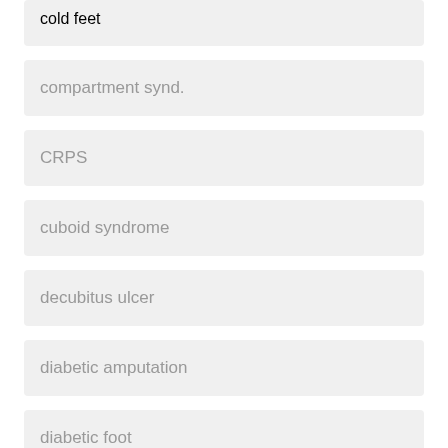cold feet
compartment synd.
CRPS
cuboid syndrome
decubitus ulcer
diabetic amputation
diabetic foot
eczema